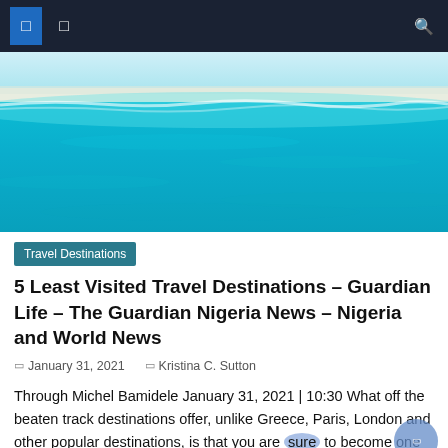Navigation bar with menu icons and search
[Figure (photo): Aerial view of turquoise ocean water with a white sandy beach shoreline]
Travel Destinations
5 Least Visited Travel Destinations – Guardian Life – The Guardian Nigeria News – Nigeria and World News
January 31, 2021   Kristina C. Sutton
Through Michel Bamidele January 31, 2021 | 10:30 What off the beaten track destinations offer, unlike Greece, Paris, London and other popular destinations, is that you are sure to become one with nature and experience it in its true form, like t off the beaten track destinations, are able to